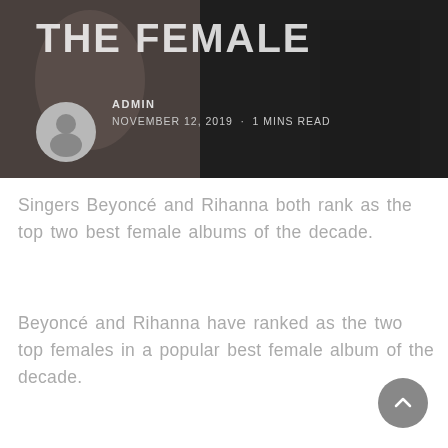[Figure (photo): Hero image showing people at an event with dark overlay, partially visible title text at top]
ADMIN
NOVEMBER 12, 2019 · 1 MINS READ
Singers Beyoncé and Rihanna both rank as the top two best female albums of the decade.
Beyoncé and Rihanna have ranked as the two top females in a popular best female album of the decade.